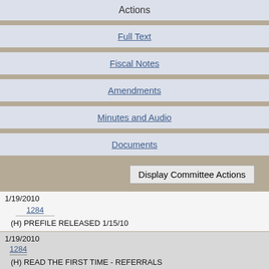Actions
Full Text
Fiscal Notes
Amendments
Minutes and Audio
Documents
Display Committee Actions
1/19/2010
1284
(H) PREFILE RELEASED 1/15/10
1/19/2010
1284
(H) READ THE FIRST TIME - REFERRALS
1/19/2010
1284
(H) STA FIN...